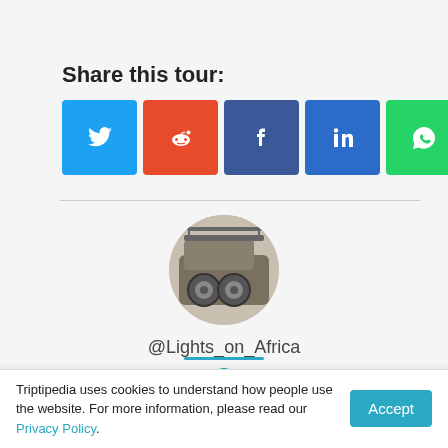Share this tour:
[Figure (other): Social share buttons: Twitter (blue), Reddit (orange-red), Facebook (dark blue), LinkedIn (blue), WhatsApp (green), Pinterest (red)]
[Figure (photo): Circular profile photo of a safari jeep/vehicle seen from behind, with spare tires mounted on the back]
@Lights_on_Africa
[Figure (other): Globe/world icon in teal/blue color]
Triptipedia uses cookies to understand how people use the website. For more information, please read our Privacy Policy.
Accept